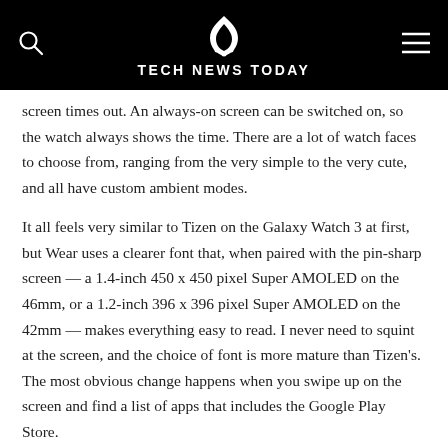TECH NEWS TODAY
screen times out. An always-on screen can be switched on, so the watch always shows the time. There are a lot of watch faces to choose from, ranging from the very simple to the very cute, and all have custom ambient modes.
It all feels very similar to Tizen on the Galaxy Watch 3 at first, but Wear uses a clearer font that, when paired with the pin-sharp screen — a 1.4-inch 450 x 450 pixel Super AMOLED on the 46mm, or a 1.2-inch 396 x 396 pixel Super AMOLED on the 42mm — makes everything easy to read. I never need to squint at the screen, and the choice of font is more mature than Tizen's. The most obvious change happens when you swipe up on the screen and find a list of apps that includes the Google Play Store.
Android apps for Wear OS work on the Galaxy Watch 4 Classic, unlike